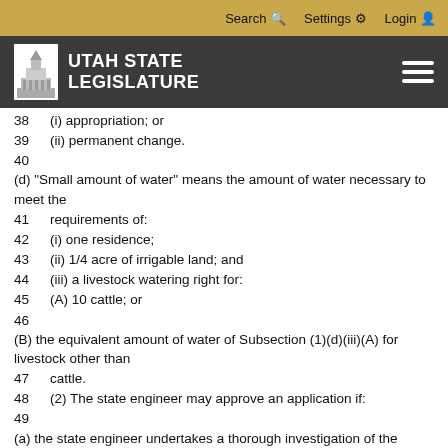Search  Settings  Login
[Figure (logo): Utah State Legislature logo with capitol building icon and navigation bar]
38    (i) appropriation; or
39    (ii) permanent change.
40    (d) "Small amount of water" means the amount of water necessary to meet the
41    requirements of:
42    (i) one residence;
43    (ii) 1/4 acre of irrigable land; and
44    (iii) a livestock watering right for:
45    (A) 10 cattle; or
46    (B) the equivalent amount of water of Subsection (1)(d)(iii)(A) for livestock other than
47    cattle.
48    (2) The state engineer may approve an application if:
49    (a) the state engineer undertakes a thorough investigation of the application;
50    (b) notice is provided in accordance with Subsection (3);
51    (c) the application complies with the state engineer's regional policies and restrictions
52    and Section 73-3-3 or 73-3-8, as applicable; and